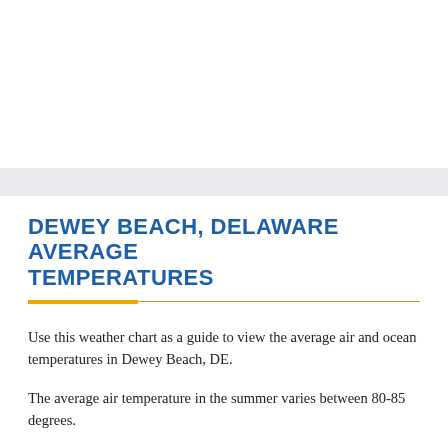DEWEY BEACH, DELAWARE AVERAGE TEMPERATURES
Use this weather chart as a guide to view the average air and ocean temperatures in Dewey Beach, DE.
The average air temperature in the summer varies between 80-85 degrees.
The average ocean temperature in the summer varies